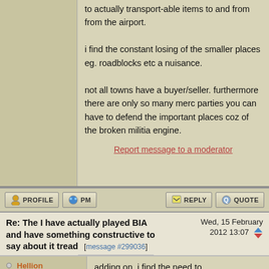to actually transport-able items to and from from the airport.

i find the constant losing of the smaller places eg. roadblocks etc a nuisance.

not all towns have a buyer/seller. furthermore there are only so many merc parties you can have to defend the important places coz of the broken militia engine.
Report message to a moderator
Re: The I have actually played BIA and have something constructive to say about it tread [message #299036]
Wed, 15 February 2012 13:07
Hellion
adding on, i find the need to
Private